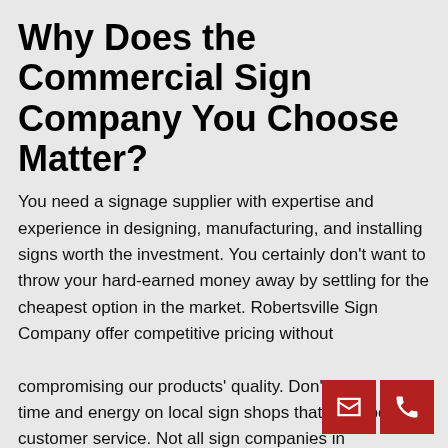Why Does the Commercial Sign Company You Choose Matter?
You need a signage supplier with expertise and experience in designing, manufacturing, and installing signs worth the investment. You certainly don't want to throw your hard-earned money away by settling for the cheapest option in the market. Robertsville Sign Company offer competitive pricing without

compromising our products' quality. Don't waste your time and energy on local sign shops that have poor customer service. Not all sign companies in Robertsville have the same level of dedication to the customer as Signs U ed philosophy and work ethic sets us apart from s.
[Figure (infographic): Two red contact icon buttons — an envelope (email) and a phone icon — positioned in the lower right corner of the page.]